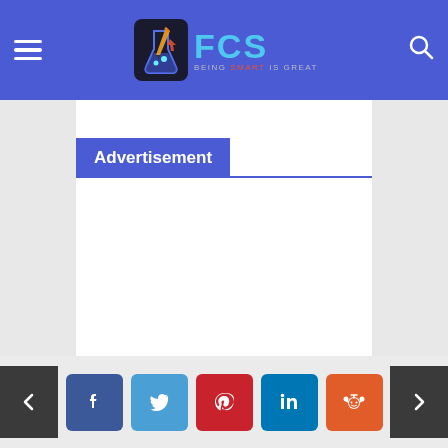FCS - Being Smart is Great
Advertisement
Social share buttons: Facebook, Twitter, Pinterest, LinkedIn, Reddit